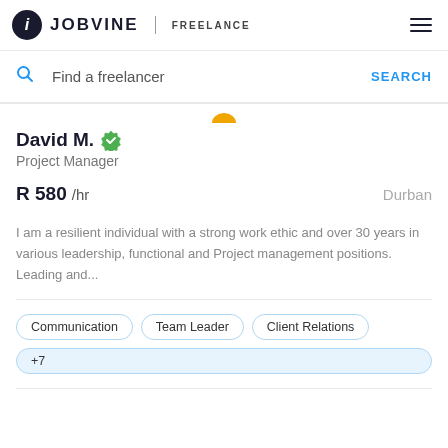JOBVINE | FREELANCE
Find a freelancer  SEARCH
David M.
Project Manager
R 580 /hr   Durban
I am a resilient individual with a strong work ethic and over 30 years in various leadership, functional and Project management positions. Leading and...
Communication
Team Leader
Client Relations
+7